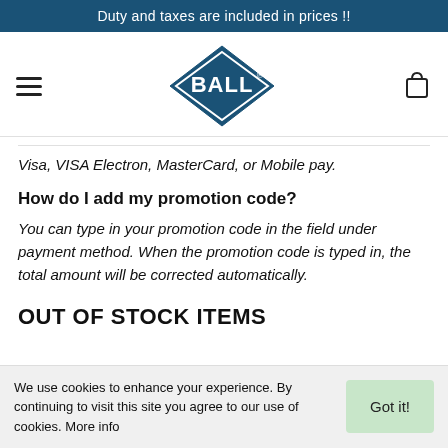Duty and taxes are included in prices !!
[Figure (logo): BALL brand logo — diamond shape with teal/navy background and white BALL text with registered trademark symbol]
Visa, VISA Electron, MasterCard, or Mobile pay.
How do I add my promotion code?
You can type in your promotion code in the field under payment method. When the promotion code is typed in, the total amount will be corrected automatically.
OUT OF STOCK ITEMS
We use cookies to enhance your experience. By continuing to visit this site you agree to our use of cookies. More info